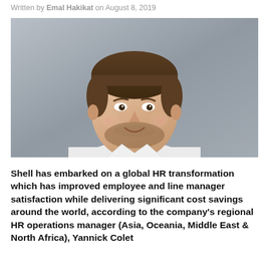Written by Emal Hakikat on August 8, 2019
[Figure (photo): Headshot of a man with short brown hair and beard, wearing a white shirt, against a grey background]
Shell has embarked on a global HR transformation which has improved employee and line manager satisfaction while delivering significant cost savings around the world, according to the company's regional HR operations manager (Asia, Oceania, Middle East & North Africa), Yannick Colet